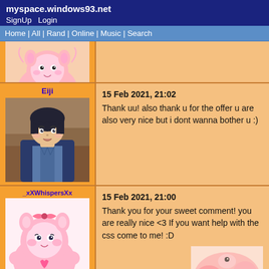myspace.windows93.net
SignUp  Login
Home | All | Rand | Online | Music | Search
[Figure (illustration): Partial view of a pink anime character/plush at top of page, cropped]
Eiji
[Figure (illustration): Anime illustration of a young man with dark hair wearing a dark suit/jacket]
15 Feb 2021, 21:02
Thank uu! also thank u for the offer u are also very nice but i dont wanna bother u :)
_xXWhispersXx
[Figure (illustration): Anime/cute illustration featuring a pink plush character with a bear/bunny design]
15 Feb 2021, 21:00
Thank you for your sweet comment! you are really nice <3 If you want help with the css come to me! :D